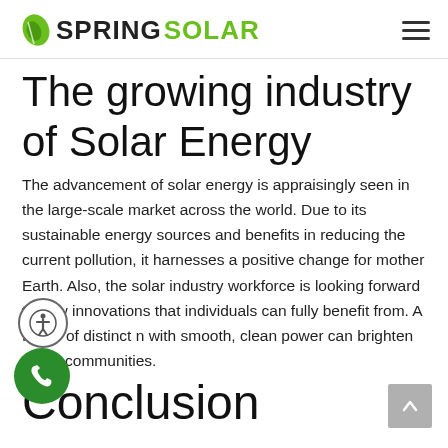SPRINGSOLAR
The growing industry of Solar Energy
The advancement of solar energy is appraisingly seen in the large-scale market across the world. Due to its sustainable energy sources and benefits in reducing the current pollution, it harnesses a positive change for mother Earth. Also, the solar industry workforce is looking forward to new innovations that individuals can fully benefit from. A future of distinct n with smooth, clean power can brighten erous communities.
Conclusion